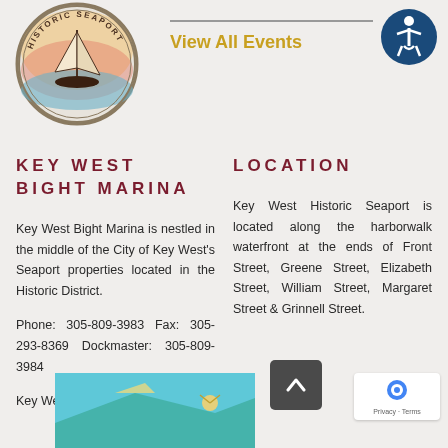[Figure (logo): Historic Seaport circular logo with sailing ship]
View All Events
KEY WEST BIGHT MARINA
LOCATION
Key West Bight Marina is nestled in the middle of the City of Key West's Seaport properties located in the Historic District.
Phone: 305-809-3983  Fax: 305-293-8369  Dockmaster: 305-809-3984
Key West Bight Marina is
Key West Historic Seaport is located along the harborwalk waterfront at the ends of Front Street, Greene Street, Elizabeth Street, William Street, Margaret Street & Grinnell Street.
[Figure (illustration): Partial image of map/illustration of Key West Historic Seaport at bottom]